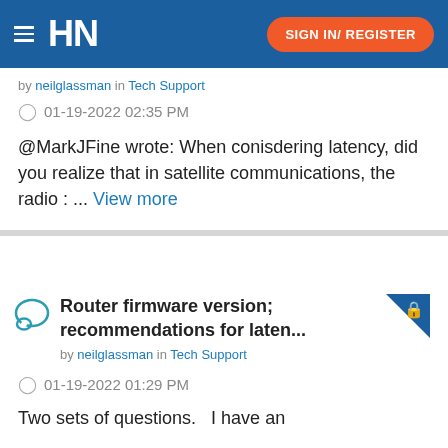HN | SIGN IN/ REGISTER
by neilglassman in Tech Support
01-19-2022 02:35 PM
@MarkJFine wrote: When conisdering latency, did you realize that in satellite communications, the radio : ... View more
Router firmware version; recommendations for laten...
by neilglassman in Tech Support
01-19-2022 01:29 PM
Two sets of questions.   I have an